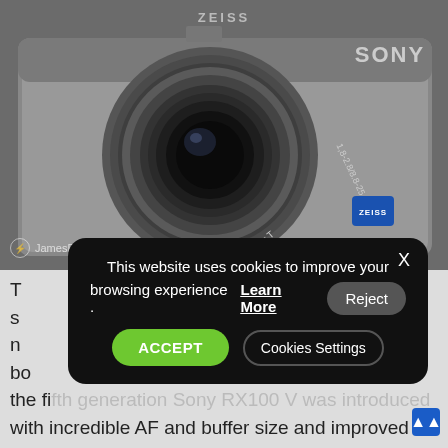[Figure (photo): Close-up photo of a Sony compact camera with Zeiss Vario-Sonnar T* lens, showing lens markings 1.8-2.8/8.8-25.7, SONY branding top right, ZEISS branding on lens and blue badge, on a grey background. Watermark reads JamesFanPhotography.com.]
T
s
n
bo
the fifth generation Sony RX100 V was introduced
with incredible AF and buffer size and improved over
[Figure (screenshot): Cookie consent banner overlay on a dark rounded rectangle. Text: 'This website uses cookies to improve your browsing experience . Learn More [Reject] [ACCEPT] [Cookies Settings]'. Close button X in top right.]